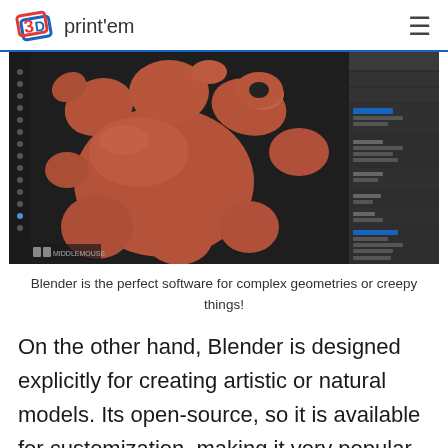3D print'em
[Figure (screenshot): Screenshot of Blender 3D software showing a complex organic sculpture with bulbous, creepy appendages in reddish-brown clay-like material on a dark background, with Blender's properties panel visible on the right. Bottom left watermark reads 'MIDDLEMOUSE'.]
Blender is the perfect software for complex geometries or creepy things!
On the other hand, Blender is designed explicitly for creating artistic or natural models. Its open-source, so it is available for customization, making it very popular among